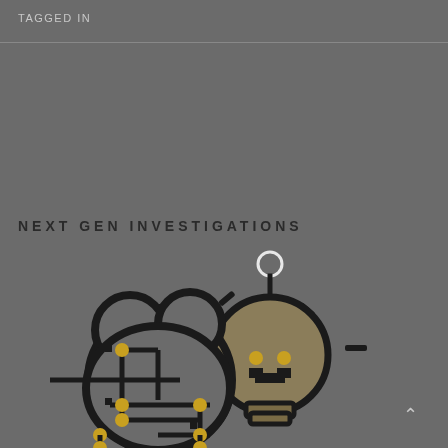TAGGED IN
NEXT GEN INVESTIGATIONS
[Figure (illustration): AI brain and lightbulb icon illustration: a stylized circuit-board brain on the left with gold connector dots and lines, overlapped by a large lightbulb icon with gold filament details and rays, drawn in a bold outline style on a dark grey background. A small white circle sits above the bulb like a glow.]